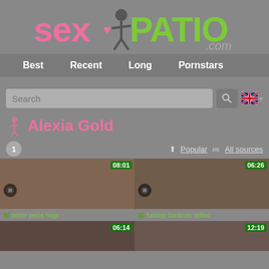[Figure (logo): SexPatio.com logo with pink 'sex' text, female silhouette figure, green 'PATIO' text, and '.com' in gray]
Best  Recent  Long  Pornstars
Search
Alexia Gold
1  Popular  All sources
[Figure (photo): Video thumbnail with timer 08:01, tags: petite penis huge]
[Figure (photo): Video thumbnail with timer 06:26, tags: fucking hardcore drilled]
[Figure (photo): Video thumbnail with timer 06:14]
[Figure (photo): Video thumbnail with timer 12:19]